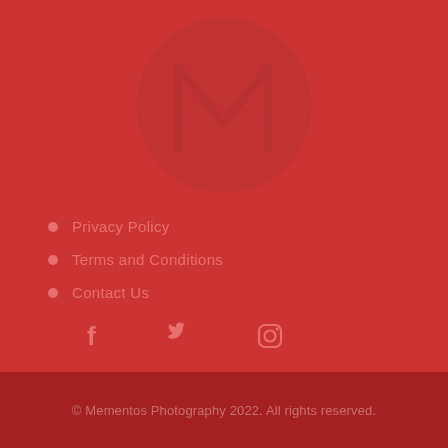[Figure (logo): Circular logo with letter M in darker red on red background]
Privacy Policy
Terms and Conditions
Contact Us
[Figure (infographic): Social media icons: Facebook, Twitter, Instagram]
© Mementos Photography 2022. All rights reserved.